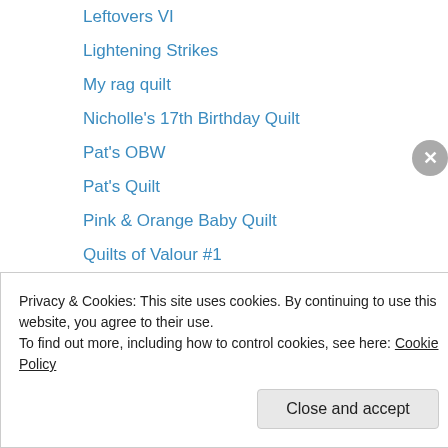Leftovers VI
Lightening Strikes
My rag quilt
Nicholle's 17th Birthday Quilt
Pat's OBW
Pat's Quilt
Pink & Orange Baby Quilt
Quilts of Valour #1
Quilts of Valour #2
Sean and Catherine's Quilt
Star Surround Quilt-a-long
Sue's Summer Breeze
Tante's Rag Quilt
Privacy & Cookies: This site uses cookies. By continuing to use this website, you agree to their use.
To find out more, including how to control cookies, see here: Cookie Policy
Close and accept